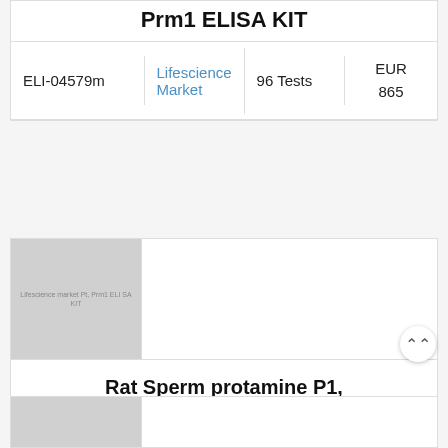Prm1 ELISA KIT
| ID | Vendor | Quantity | Price |
| --- | --- | --- | --- |
| ELI-04579m | Lifescience Market | 96 Tests | EUR 865 |
[Figure (photo): Product image placeholder for Rat Sperm protamine P1, Prm1 ELISA KIT]
Rat Sperm protamine P1, Prm1 ELISA KIT
| ID | Vendor | Quantity | Price |
| --- | --- | --- | --- |
| ELI-04580r | Lifescience Market | 96 Tests | EUR 886 |